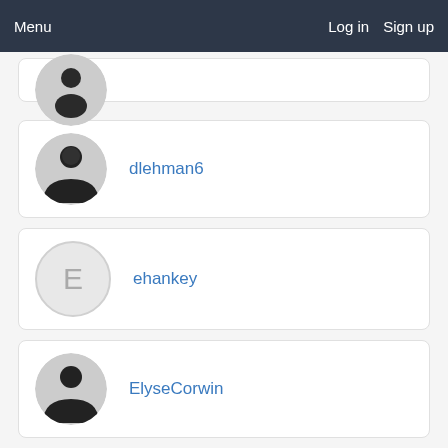Menu  Log in  Sign up
[Figure (screenshot): Partially visible user profile card with avatar at top]
dlehman6
ehankey
ElyseCorwin